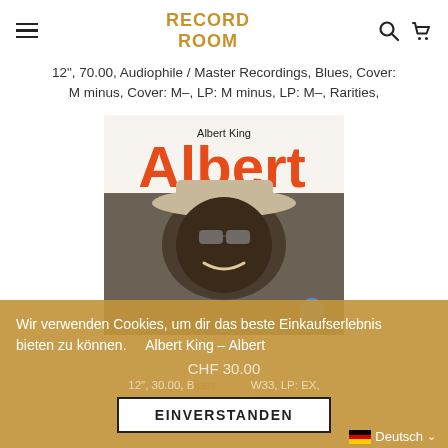RECORD ROOM
12", 70.00, Audiophile / Master Recordings, Blues, Cover: M minus, Cover: M–, LP: M minus, LP: M–, Rarities,
[Figure (photo): Album cover of Albert King - Albert, showing a smiling man in a hat and sunglasses on a white/tan background with large orange 'Albert' text and 'Albert King' in dark letters above]
Wir verwenden Cookies, um dir das beste Einkaufserlebnis bieten zu können.
Albert King – Albert
CHF 30.00
12", 30.00, B... W33, LP: EX,
EINVERSTANDEN
Deutsch